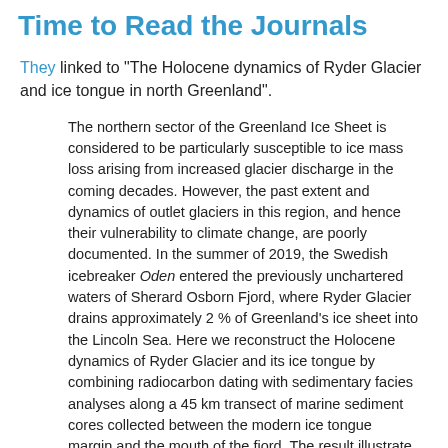Time to Read the Journals
They linked to "The Holocene dynamics of Ryder Glacier and ice tongue in north Greenland".
The northern sector of the Greenland Ice Sheet is considered to be particularly susceptible to ice mass loss arising from increased glacier discharge in the coming decades. However, the past extent and dynamics of outlet glaciers in this region, and hence their vulnerability to climate change, are poorly documented. In the summer of 2019, the Swedish icebreaker Oden entered the previously unchartered waters of Sherard Osborn Fjord, where Ryder Glacier drains approximately 2 % of Greenland's ice sheet into the Lincoln Sea. Here we reconstruct the Holocene dynamics of Ryder Glacier and its ice tongue by combining radiocarbon dating with sedimentary facies analyses along a 45 km transect of marine sediment cores collected between the modern ice tongue margin and the mouth of the fjord. The result illustrate that Ryder Glacier